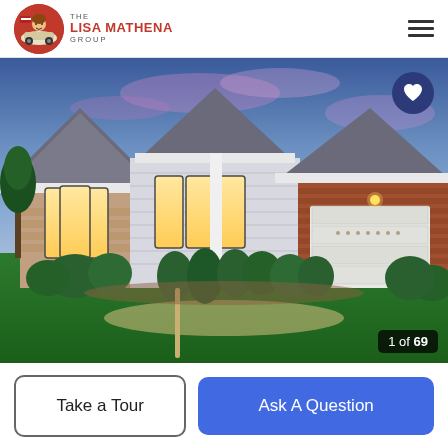THE LISA MATHENA GROUP
[Figure (photo): Exterior photo of a suburban ranch-style home at dusk with brick accents, multiple gabled rooflines, large windows glowing warmly, a two-car garage, and well-manicured landscaping with green lawn and shrubs.]
1 of 69
Take a Tour
Ask A Question